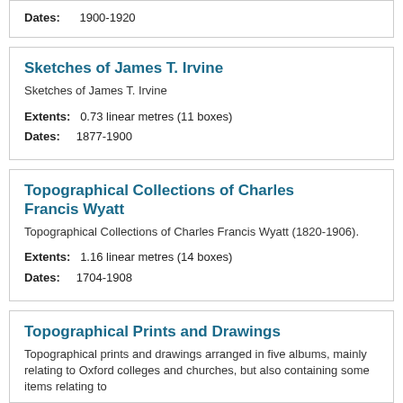Dates: 1900-1920
Sketches of James T. Irvine
Sketches of James T. Irvine
Extents: 0.73 linear metres (11 boxes)
Dates: 1877-1900
Topographical Collections of Charles Francis Wyatt
Topographical Collections of Charles Francis Wyatt (1820-1906).
Extents: 1.16 linear metres (14 boxes)
Dates: 1704-1908
Topographical Prints and Drawings
Topographical prints and drawings arranged in five albums, mainly relating to Oxford colleges and churches, but also containing some items relating to